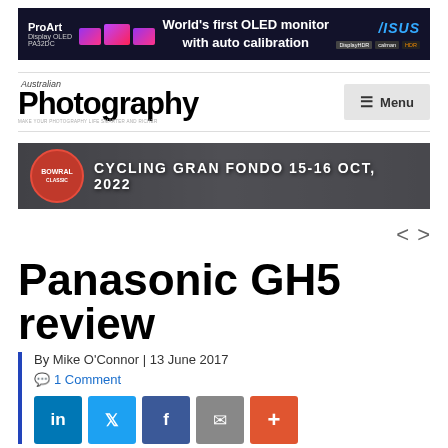[Figure (other): ASUS ProArt Display OLED PA32DC advertisement banner. Text: ProArt, Display OLED, PA32DC, World's first OLED monitor with auto calibration, ASUS logo, DisplayHDR and other badges.]
Australian Photography — Menu
[Figure (other): Bowral Classic Cycling Gran Fondo 15-16 Oct, 2022 event banner with crowd of cyclists.]
Panasonic GH5 review
By Mike O'Connor | 13 June 2017
1 Comment
[Figure (other): Social share buttons: LinkedIn (blue), Twitter (light blue), Facebook (dark blue), Email (grey), More (orange-red).]